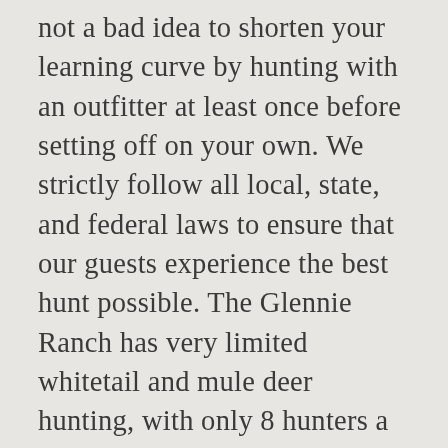not a bad idea to shorten your learning curve by hunting with an outfitter at least once before setting off on your own. We strictly follow all local, state, and federal laws to ensure that our guests experience the best hunt possible. The Glennie Ranch has very limited whitetail and mule deer hunting, with only 8 hunters a year. This is the best opportunity of success for a DIY hunt in Colorado. This would be a hunt that you would not soon forget, and for very good reasons. Well this outfitter is different. Growing up in south central Montana and relocating to eastern Montana three years ago, I would say this question is relative. We expect hunters to kill white-tailed deer in the 130-160 class and